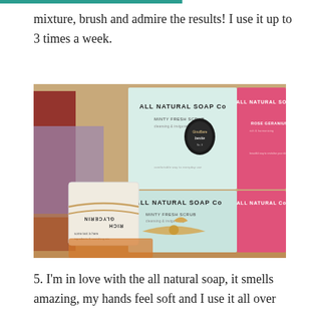mixture, brush and admire the results! I use it up to 3 times a week.
[Figure (photo): Photo of various natural soap bars and packaged soap boxes on a wooden surface. Boxes are labeled 'ALL NATURAL SOAP CO' with varieties including 'Minty Fresh Scrub' and 'Rose Geranium'. A wrapped glycerin-rich soap bar is shown in the foreground with twine decoration.]
5. I'm in love with the all natural soap, it smells amazing, my hands feel soft and I use it all over